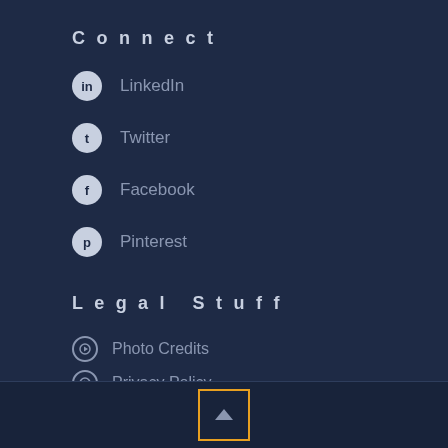Connect
LinkedIn
Twitter
Facebook
Pinterest
Legal Stuff
Photo Credits
Privacy Policy
Terms of Use
Affiliate Disclaimer
Earnings Disclaimer
DMCA Policy
Back to top button